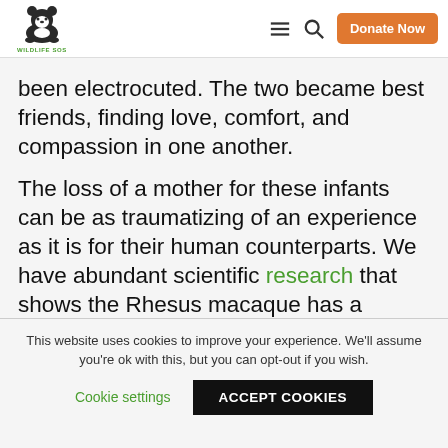Wildlife SOS — navigation bar with logo, menu icon, search icon, and Donate Now button
been electrocuted. The two became best friends, finding love, comfort, and compassion in one another.
The loss of a mother for these infants can be as traumatizing of an experience as it is for their human counterparts. We have abundant scientific research that shows the Rhesus macaque has a variety of complex cognitive abilities that make them very similar to humans. They feel the loss of
This website uses cookies to improve your experience. We'll assume you're ok with this, but you can opt-out if you wish.
Cookie settings
ACCEPT COOKIES